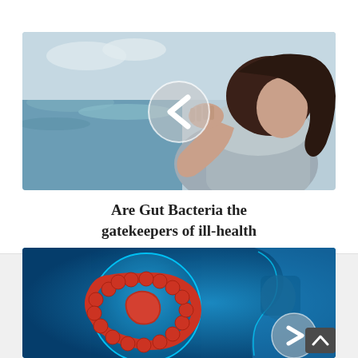[Figure (photo): Woman sitting by the ocean looking distressed, holding her head in her hand, with a circular play/navigation button (chevron left) overlaid in the center]
Are Gut Bacteria the gatekeepers of ill-health
[Figure (illustration): Medical illustration showing a blue glowing human body with a close-up circle of the large intestine/colon in red, with a circular navigation button (chevron right) overlaid]